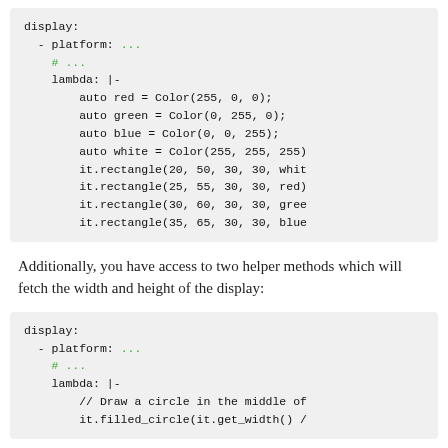display:
  - platform: ...
    # ...
    lambda: |-
        auto red = Color(255, 0, 0);
        auto green = Color(0, 255, 0);
        auto blue = Color(0, 0, 255);
        auto white = Color(255, 255, 255)
        it.rectangle(20, 50, 30, 30, whit
        it.rectangle(25, 55, 30, 30, red)
        it.rectangle(30, 60, 30, 30, gree
        it.rectangle(35, 65, 30, 30, blue
Additionally, you have access to two helper methods which will fetch the width and height of the display:
display:
  - platform: ...
    # ...
    lambda: |-
        // Draw a circle in the middle of
        it.filled_circle(it.get_width() /